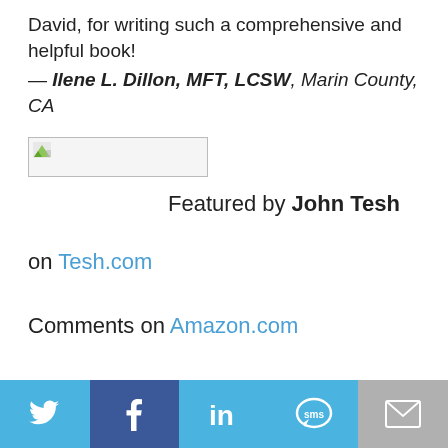David, for writing such a comprehensive and helpful book!
— Ilene L. Dillon, MFT, LCSW, Marin County, CA
[Figure (photo): Broken/placeholder image thumbnail]
Featured by John Tesh
on Tesh.com
Comments on Amazon.com
[Figure (infographic): Social sharing footer bar with Twitter, Facebook, LinkedIn, SMS, and Email icons]